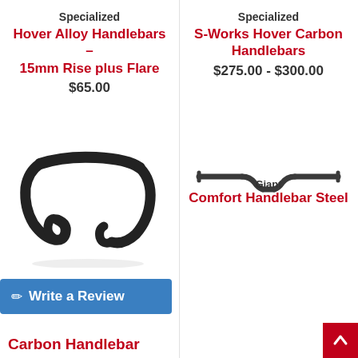Specialized
Hover Alloy Handlebars – 15mm Rise plus Flare
$65.00
[Figure (photo): Specialized Hover Alloy Handlebars – drop style bicycle handlebars in black]
Specialized
S-Works Hover Carbon Handlebars
$275.00 - $300.00
[Figure (photo): Specialized S-Works Hover Carbon Handlebars – flat riser style in carbon/dark grey]
Giant
Comfort Handlebar Steel
Write a Review